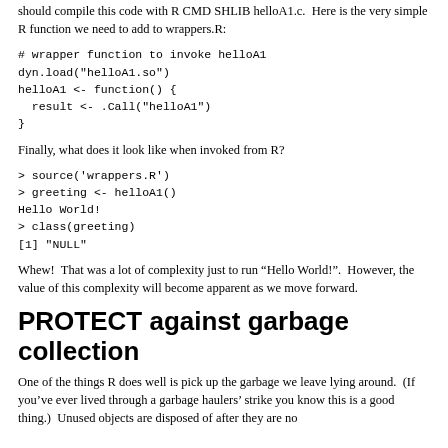should compile this code with R CMD SHLIB helloA1.c.  Here is the very simple R function we need to add to wrappers.R:
# wrapper function to invoke helloA1
dyn.load("helloA1.so")
helloA1 <- function() {
  result <- .Call("helloA1")
}
Finally, what does it look like when invoked from R?
> source('wrappers.R')
> greeting <- helloA1()
Hello World!
> class(greeting)
[1] "NULL"
Whew!  That was a lot of complexity just to run “Hello World!”.  However, the value of this complexity will become apparent as we move forward.
PROTECT against garbage collection
One of the things R does well is pick up the garbage we leave lying around.  (If you’ve ever lived through a garbage haulers’ strike you know this is a good thing.)  Unused objects are disposed of after they are no